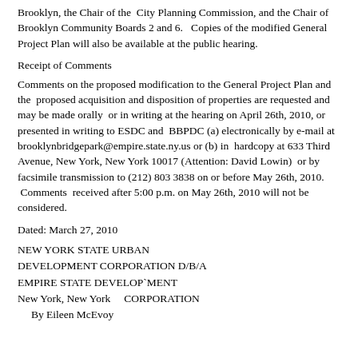Brooklyn, the Chair of the City Planning Commission, and the Chair of Brooklyn Community Boards 2 and 6.   Copies of the modified General Project Plan will also be available at the public hearing.
Receipt of Comments
Comments on the proposed modification to the General Project Plan and the  proposed acquisition and disposition of properties are requested and may be made orally  or in writing at the hearing on April 26th, 2010, or presented in writing to ESDC and  BBPDC (a) electronically by e-mail at brooklynbridgepark@empire.state.ny.us or (b) in  hardcopy at 633 Third Avenue, New York, New York 10017 (Attention: David Lowin)  or by facsimile transmission to (212) 803 3838 on or before May 26th, 2010.  Comments  received after 5:00 p.m. on May 26th, 2010 will not be considered.
Dated: March 27, 2010
NEW YORK STATE URBAN DEVELOPMENT CORPORATION D/B/A EMPIRE STATE DEVELOP`MENT
New York, New York    CORPORATION
    By Eileen McEvoy